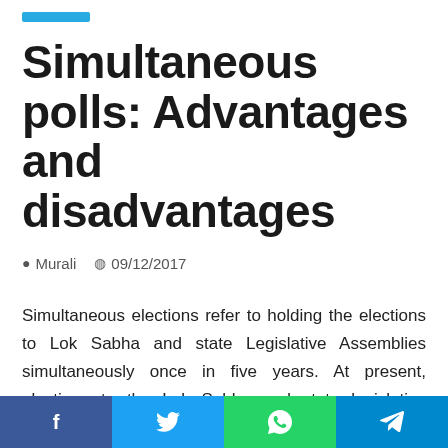Simultaneous polls: Advantages and disadvantages
Murali   09/12/2017
Simultaneous elections refer to holding the elections to Lok Sabha and state Legislative Assemblies simultaneously once in five years. At present, elections to the Lok Sabha and state legislative assemblies are held separately, except in 2014 when elections to assemblies of